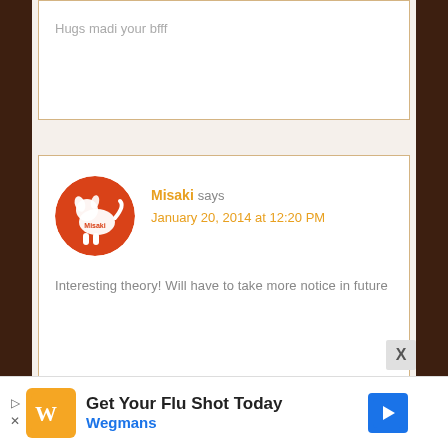Hugs madi your bfff
Misaki says
January 20, 2014 at 12:20 PM
Interesting theory! Will have to take more notice in future
Jen K says
January 20, 2014 at 12:37 PM
[Figure (logo): Misaki brand logo - red circle with white dog silhouette]
[Figure (photo): Avatar photo of Jen K with a dark colored dog]
Get Your Flu Shot Today
Wegmans